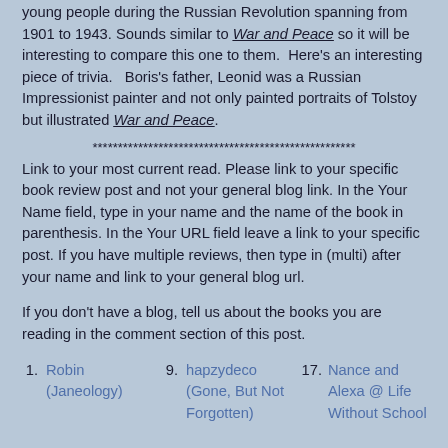young people during the Russian Revolution spanning from 1901 to 1943. Sounds similar to War and Peace so it will be interesting to compare this one to them. Here's an interesting piece of trivia. Boris's father, Leonid was a Russian Impressionist painter and not only painted portraits of Tolstoy but illustrated War and Peace.
****************************************************
Link to your most current read. Please link to your specific book review post and not your general blog link. In the Your Name field, type in your name and the name of the book in parenthesis. In the Your URL field leave a link to your specific post. If you have multiple reviews, then type in (multi) after your name and link to your general blog url.
If you don't have a blog, tell us about the books you are reading in the comment section of this post.
1. Robin (Janeology)
9. hapzydeco (Gone, But Not Forgotten)
17. Nance and Alexa @ Life Without School